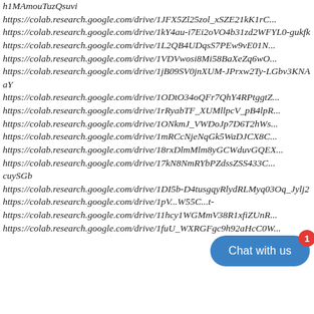h1MAmouTuzQsuvi
https://colab.research.google.com/drive/1JFX5Zl25zol_xSZE21kK1rC...
https://colab.research.google.com/drive/1kY4au-i7Ei2oVO4b31zd2WFYL0-gukfk
https://colab.research.google.com/drive/1L2QB4UDqsS7PEw9vE01N...
https://colab.research.google.com/drive/1VDVwosi8Mi58BaXeZq6wO...
https://colab.research.google.com/drive/1jB09SV0jnXUM-JPrxw2Ty-LGbv3KNAaY
https://colab.research.google.com/drive/1ODtO34oQFr7QhY4RPtggtZ...
https://colab.research.google.com/drive/1rRyabTF_XUMllpcV_pB4lpR...
https://colab.research.google.com/drive/1ONkmJ_VWDoJp7D6T2hWs...
https://colab.research.google.com/drive/1mRCcNjeNqGk5WaDJCX8C...
https://colab.research.google.com/drive/18rxDlmMlm8yGCWduvGQEX...
https://colab.research.google.com/drive/17kN8NmRYbPZdssZSS433CcuySGb
https://colab.research.google.com/drive/1DI5b-D4tusgqyRlydRLMyq03Oq_Jylj2
https://colab.research.google.com/drive/1pV.../55C...t-
https://colab.research.google.com/drive/11hcy1WGMmV38R1xfiZUnR...
https://colab.research.google.com/drive/1fuU_WXRGFgc9h92aHcC0W...
[Figure (other): Blue 'Chat with us' button with red badge showing '1']